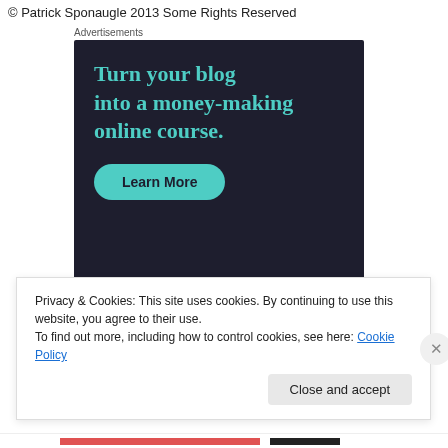© Patrick Sponaugle 2013 Some Rights Reserved
Advertisements
[Figure (infographic): Advertisement for Sensei: dark background with teal headline 'Turn your blog into a money-making online course.' and a teal 'Learn More' button. Sensei logo and brand name at bottom right.]
Privacy & Cookies: This site uses cookies. By continuing to use this website, you agree to their use.
To find out more, including how to control cookies, see here: Cookie Policy
Close and accept